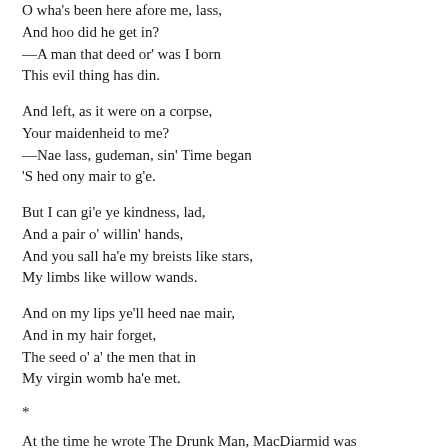O wha's been here afore me, lass,
And hoo did he get in?
—A man that deed or' was I born
This evil thing has din.
And left, as it were on a corpse,
Your maidenheid to me?
—Nae lass, gudeman, sin' Time began
'S hed ony mair to g'e.
But I can gi'e ye kindness, lad,
And a pair o' willin' hands,
And you sall ha'e my breists like stars,
My limbs like willow wands.
And on my lips ye'll heed nae mair,
And in my hair forget,
The seed o' a' the men that in
My virgin womb ha'e met.
*
At the time he wrote The Drunk Man, MacDiarmid was